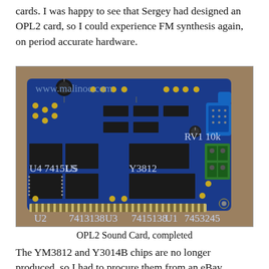cards. I was happy to see that Sergey had designed an OPL2 card, so I could experience FM synthesis again, on period accurate hardware.
[Figure (photo): Photo of a completed OPL2 Sound Card - a blue PCB circuit board with multiple integrated circuits, capacitors, resistors, gold edge connector, blue audio connector, and green terminal block, photographed on a tan/brown surface.]
OPL2 Sound Card, completed
The YM3812 and Y3014B chips are no longer produced, so I had to procure them from an eBay vendor. Surprisingly,